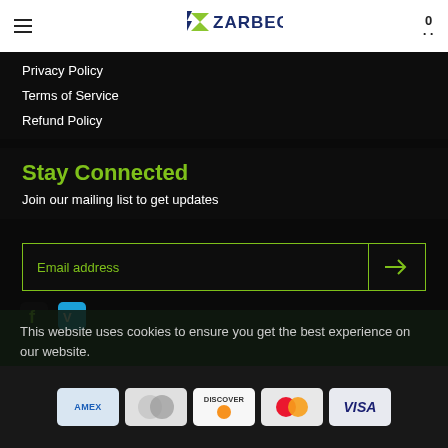Zarbeco — navigation header with hamburger menu, logo, and cart icon (0)
Privacy Policy
Terms of Service
Refund Policy
Stay Connected
Join our mailing list to get updates
Email address (input field with submit arrow button)
[Figure (other): Social media icons: Facebook (f) and Vimeo]
This website uses cookies to ensure you get the best experience on our website. Learn More
© 2022 Zarbeco, LLC • Powered by Shopify
[Figure (other): Payment method icons: AMEX, Diners Club, DISCOVER, Mastercard, VISA]